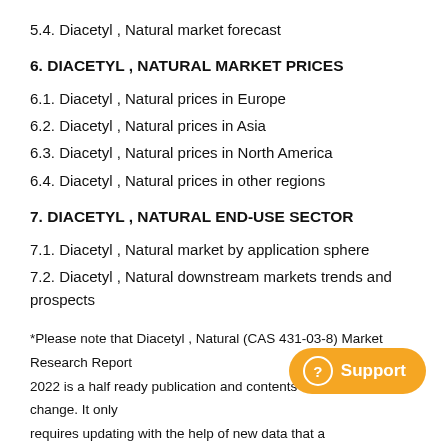5.4. Diacetyl , Natural market forecast
6. DIACETYL , NATURAL MARKET PRICES
6.1. Diacetyl , Natural prices in Europe
6.2. Diacetyl , Natural prices in Asia
6.3. Diacetyl , Natural prices in North America
6.4. Diacetyl , Natural prices in other regions
7. DIACETYL , NATURAL END-USE SECTOR
7.1. Diacetyl , Natural market by application sphere
7.2. Diacetyl , Natural downstream markets trends and prospects
*Please note that Diacetyl , Natural (CAS 431-03-8) Market Research Report 2022 is a half ready publication and contents are subject to change. It only requires updating with the help of new data that are collected from Publisher's databases and other sources. This updating process